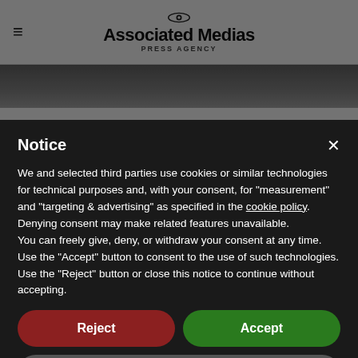Associated Medias PRESS AGENCY
[Figure (photo): Partial photo of a person, cropped, visible behind the modal overlay]
Notice
We and selected third parties use cookies or similar technologies for technical purposes and, with your consent, for “measurement” and “targeting & advertising” as specified in the cookie policy. Denying consent may make related features unavailable.
You can freely give, deny, or withdraw your consent at any time.
Use the “Accept” button to consent to the use of such technologies. Use the “Reject” button or close this notice to continue without accepting.
Reject
Accept
Learn more and customise